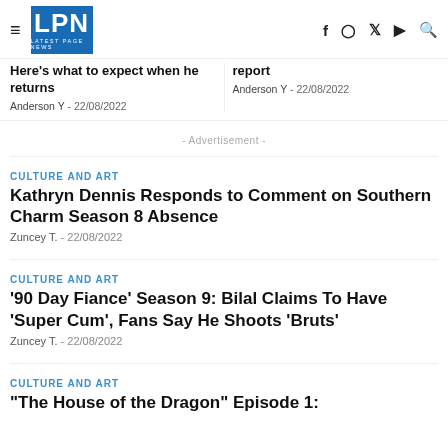LPN LATEST PAGE NEWS
Here's what to expect when he returns
Anderson Y - 22/08/2022
report
Anderson Y - 22/08/2022
- Advertisement -
CULTURE AND ART
Kathryn Dennis Responds to Comment on Southern Charm Season 8 Absence
Zuncey T. - 22/08/2022
CULTURE AND ART
'90 Day Fiance' Season 9: Bilal Claims To Have 'Super Cum', Fans Say He Shoots 'Bruts'
Zuncey T. - 22/08/2022
CULTURE AND ART
"The House of the Dragon" Episode 1: